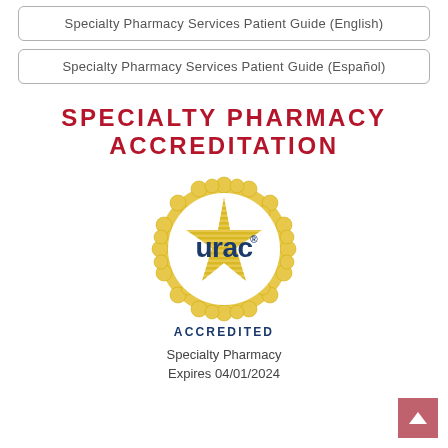Specialty Pharmacy Services Patient Guide (English)
Specialty Pharmacy Services Patient Guide (Español)
SPECIALTY PHARMACY ACCREDITATION
[Figure (logo): URAC accreditation seal — gold scalloped circle with a golden star and horizontal lines; 'urac' in dark blue bold lowercase letters with a registered trademark symbol; 'ACCREDITED' in dark blue caps below]
Specialty Pharmacy
Expires 04/01/2024